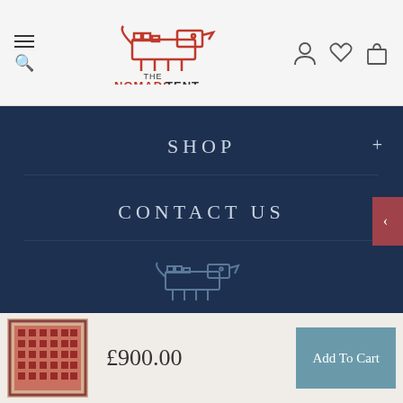[Figure (logo): The Nomads Tent logo - geometric animal figure in red outline with text 'THE NOMADS TENT']
SHOP
CONTACT US
[Figure (logo): The Nomads Tent logo in light blue outline on dark navy background]
© 2021 The Nomads Tent. All Rights Reserved
[Figure (infographic): Social media icons: Facebook, Twitter, Instagram, Pinterest, YouTube]
[Figure (photo): Red patterned rug/carpet thumbnail]
£900.00
Add To Cart